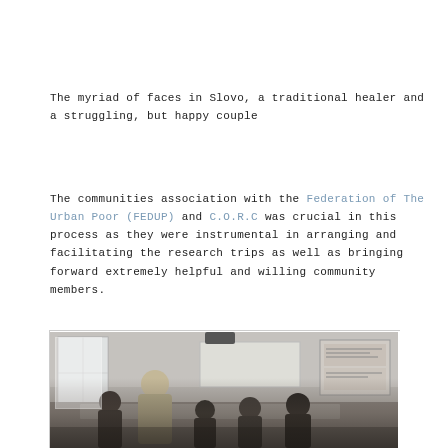The myriad of faces in Slovo, a traditional healer and a struggling, but happy couple
The communities association with the Federation of The Urban Poor (FEDUP) and C.O.R.C was crucial in this process as they were instrumental in arranging and facilitating the research trips as well as bringing forward extremely helpful and willing community members.
[Figure (photo): Black and white photograph showing a group of people gathered around a table in what appears to be a community meeting room. A blonde woman is leaning over the table interacting with seated participants. The room has windows and a notice board visible in the background.]